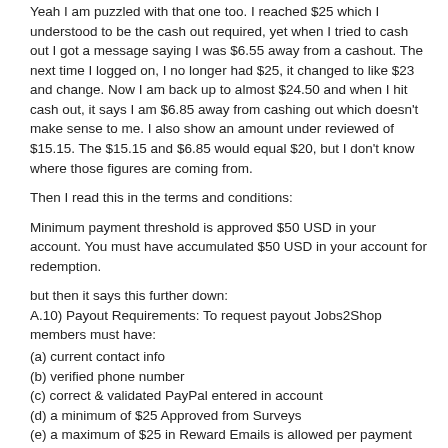Yeah I am puzzled with that one too.  I reached $25 which I understood to be the cash out required, yet when I tried to cash out I got a message saying I was $6.55 away from a cashout.  The next time I logged on, I no longer had $25, it changed to like $23 and change.  Now I am back up to almost $24.50 and when I hit cash out, it says I am $6.85 away from cashing out which doesn't make sense to me.  I also show an amount under reviewed of $15.15.  The $15.15 and $6.85 would equal $20, but I don't know where those figures are coming from.
Then I read this in the terms and conditions:
Minimum payment threshold is approved $50 USD in your account. You must have accumulated $50 USD in your account for redemption.
but then it says this further down:
A.10) Payout Requirements: To request payout Jobs2Shop members must have:
(a) current contact info
(b) verified phone number
(c) correct & validated PayPal entered in account
(d) a minimum of $25 Approved from Surveys
(e) a maximum of $25 in Reward Emails is allowed per payment request. Money from Reward Emails exceeding $25 will still accumulate in the Email Treasure Chest and will be eligible for future payment requests.
I think the bottom line is that you can only get $25 for opening